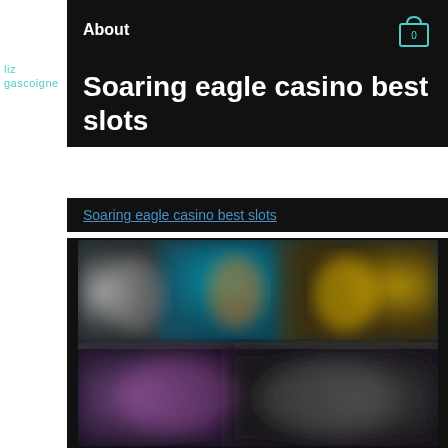liz gascoigne
About
Soaring eagle casino best slots
Soaring eagle casino best slots
[Figure (photo): Blurred casino slots game images, two panels showing colorful blurred slot machine game screens with characters]